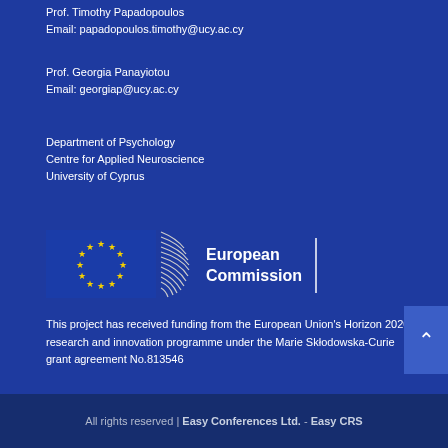Prof. Timothy Papadopoulos
Email: papadopoulos.timothy@ucy.ac.cy
Prof. Georgia Panayiotou
Email: georgiap@ucy.ac.cy
Department of Psychology
Centre for Applied Neuroscience
University of Cyprus
[Figure (logo): European Commission logo with EU flag (blue background with yellow stars) and 'European Commission' text with vertical bar separator]
This project has received funding from the European Union's Horizon 2020 research and innovation programme under the Marie Skłodowska-Curie grant agreement No.813546
All rights reserved | Easy Conferences Ltd. - Easy CRS